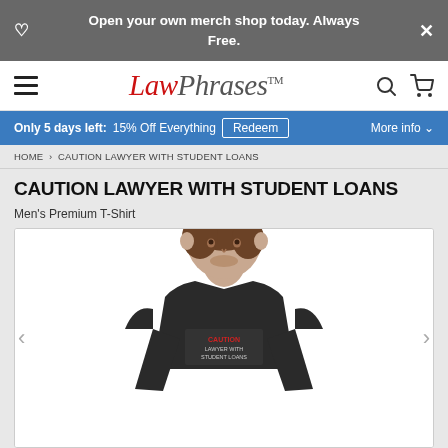Open your own merch shop today. Always Free.
[Figure (logo): LawPhrases logo with navigation icons (hamburger menu, search, cart)]
Only 5 days left: 15% Off Everything  Redeem  More info
HOME > CAUTION LAWYER WITH STUDENT LOANS
CAUTION LAWYER WITH STUDENT LOANS
Men's Premium T-Shirt
[Figure (photo): Man wearing a dark t-shirt that reads CAUTION LAWYER WITH STUDENT LOANS]